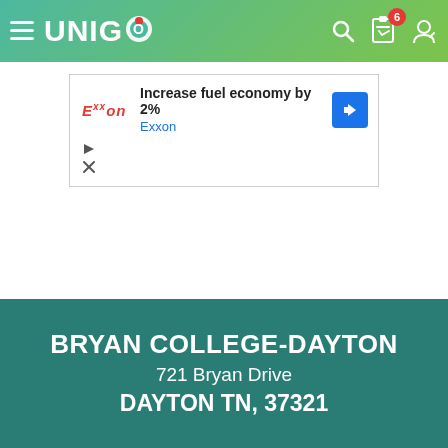UNIGO — navigation header with hamburger menu, logo, search icon, clipboard icon with badge (6), and user icon
[Figure (screenshot): Exxon advertisement: 'Increase fuel economy by 2%' with Exxon logo and blue direction sign icon. Ad controls (play/close) shown below.]
BRYAN COLLEGE-DAYTON
721 Bryan Drive
DAYTON TN, 37321